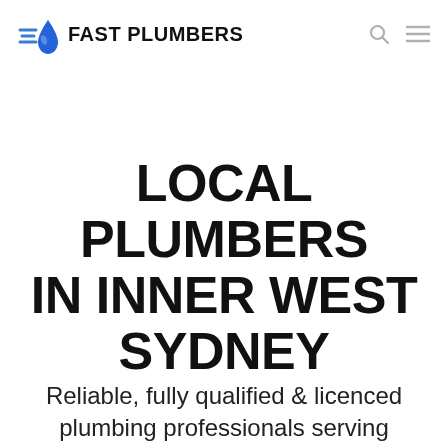FAST PLUMBERS
LOCAL PLUMBERS IN INNER WEST SYDNEY
Reliable, fully qualified & licenced plumbing professionals serving